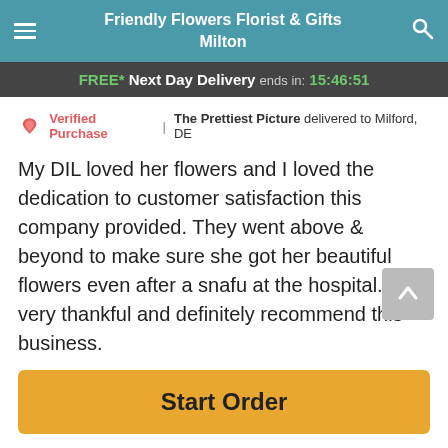Friendly Flowers Florist & Gifts Milton
FREE* Next Day Delivery ends in: 15:46:51
Verified Purchase | The Prettiest Picture delivered to Milford, DE
My DIL loved her flowers and I loved the dedication to customer satisfaction this company provided. They went above & beyond to make sure she got her beautiful flowers even after a snafu at the hospital. I'm very thankful and definitely recommend this business.
Reviews Sourced from Lovingly
You May Also Like
Start Order